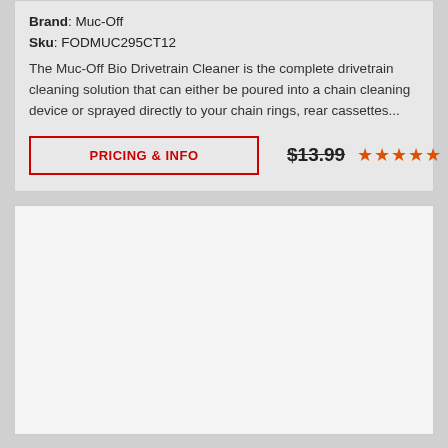Brand: Muc-Off
Sku: FODMUC295CT12
The Muc-Off Bio Drivetrain Cleaner is the complete drivetrain cleaning solution that can either be poured into a chain cleaning device or sprayed directly to your chain rings, rear cassettes...
PRICING & INFO
$13.99
★★★★★